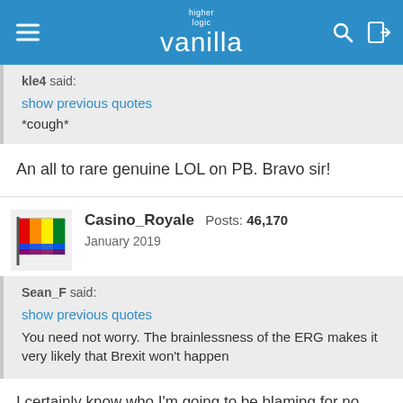higher logic vanilla
kle4 said:
show previous quotes
*cough*
An all to rare genuine LOL on PB. Bravo sir!
Casino_Royale Posts: 46,170
January 2019
Sean_F said:
show previous quotes
You need not worry. The brainlessness of the ERG makes it very likely that Brexit won't happen
I certainly know who I'm going to be blaming for no